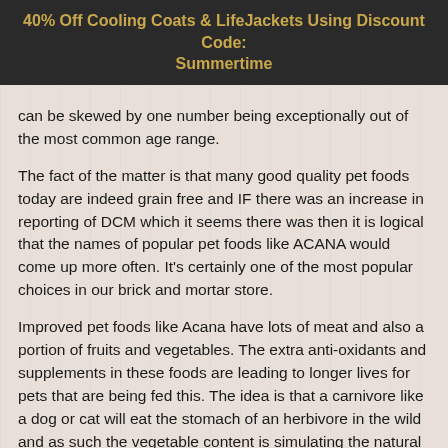40% Off Cooling Coats & LifeJackets Using Discount Code: Summertime
can be skewed by one number being exceptionally out of the most common age range.
The fact of the matter is that many good quality pet foods today are indeed grain free and IF there was an increase in reporting of DCM which it seems there was then it is logical that the names of popular pet foods like ACANA would come up more often. It's certainly one of the most popular choices in our brick and mortar store.
Improved pet foods like Acana have lots of meat and also a portion of fruits and vegetables. The extra anti-oxidants and supplements in these foods are leading to longer lives for pets that are being fed this. The idea is that a carnivore like a dog or cat will eat the stomach of an herbivore in the wild and as such the vegetable content is simulating the natural diet. Most fruits and vegetables could have the same benefits for pets as they do for people.